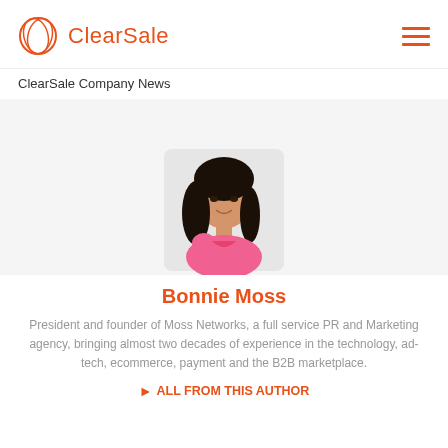ClearSale
ClearSale Company News
[Figure (photo): Portrait photo of Bonnie Moss, a woman with long dark hair wearing a pink top, against a light background]
Bonnie Moss
President and founder of Moss Networks, a full service PR and Marketing agency, bringing almost two decades of experience in the technology, ad-tech, ecommerce, payment and the B2B marketplace.
ALL FROM THIS AUTHOR